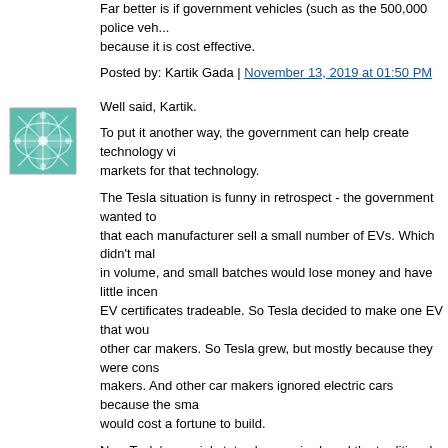Far better is if government vehicles (such as the 500,000 police cars) buy EVs because it is cost effective.
Posted by: Kartik Gada | November 13, 2019 at 01:50 PM
[Figure (illustration): Teal/green avatar icon with leaf/snowflake pattern]
Well said, Kartik.
To put it another way, the government can help create technology via markets for that technology.
The Tesla situation is funny in retrospect - the government wanted to that each manufacturer sell a small number of EVs. Which didn't ma in volume, and small batches would lose money and have little incen EV certificates tradeable. So Tesla decided to make one EV that wou other car makers. So Tesla grew, but mostly because they were cons makers. And other car makers ignored electric cars because the sma would cost a fortune to build.
Now Tesla's special status has expired, and the traditional car mak was forced to expand, because the huge source of revenue for the c argue, the expiration of the EV requirement for Tesla has actually cre market. An expansion the program suppressed for several years.
One might note that had the government not made EV certificates tr current form - instead there would be multiple car companies with EV technology due to competition. Heck, we might be much further alon traditional car companies would have been advertising EVs this who
Posted by: Geo | November 14, 2019 at 12:19 PM
[Figure (illustration): Blue/teal avatar icon with wave/net pattern]